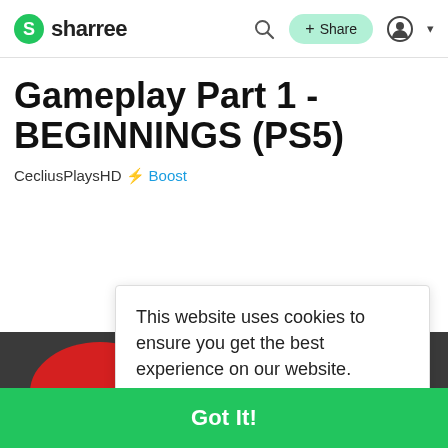sharree
Gameplay Part 1 - BEGINNINGS (PS5)
CecliusPlaysHD ⚡Boost
This website uses cookies to ensure you get the best experience on our website.
Learn More
All
Ti
Got It!